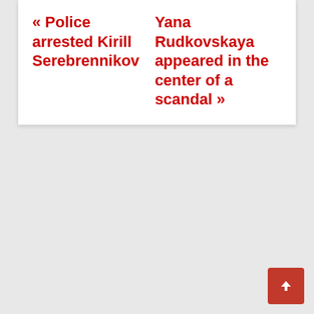« Police arrested Kirill Serebrennikov
Yana Rudkovskaya appeared in the center of a scandal »